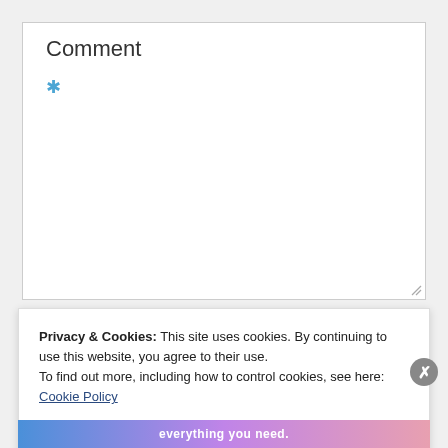Comment
*
Privacy & Cookies: This site uses cookies. By continuing to use this website, you agree to their use.
To find out more, including how to control cookies, see here: Cookie Policy
Close and accept